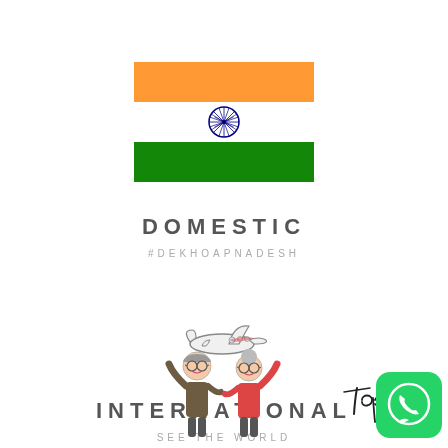[Figure (illustration): Indian national flag with orange, white, and green horizontal stripes and Ashoka Chakra in center]
DOMESTIC
#DEKHOAPNADESH
[Figure (illustration): Cartoon airplane icon facing left]
INTERNATIONAL
SEE THE WORLD
[Figure (illustration): Handwritten script word 'Top']
[Figure (illustration): WhatsApp app icon - green rounded square with white phone receiver speech bubble]
[Figure (illustration): Cartoon elderly couple with arms raised celebrating]